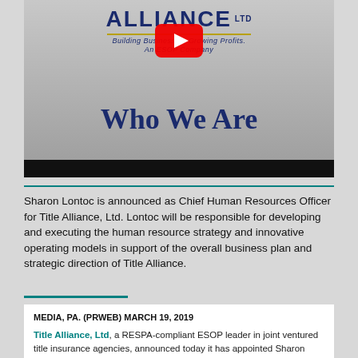[Figure (screenshot): Video thumbnail for Title Alliance Ltd 'Who We Are' video with YouTube play button overlay. Shows Alliance Ltd logo with tagline 'Building Businesses, Growing Profits. An ESOP Company' and large text 'Who We Are' on a silver/grey gradient background.]
Sharon Lontoc is announced as Chief Human Resources Officer for Title Alliance, Ltd. Lontoc will be responsible for developing and executing the human resource strategy and innovative operating models in support of the overall business plan and strategic direction of Title Alliance.
MEDIA, PA. (PRWEB) MARCH 19, 2019

Title Alliance, Ltd, a RESPA-compliant ESOP leader in joint ventured title insurance agencies, announced today it has appointed Sharon Lontoc as Chief Human Resources Officer. This announcement comes after the appointment of Maria Deligiorgis as General Counsel and Compliance Officer.